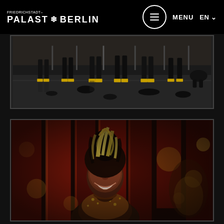FRIEDRICHSTADT-PALAST BERLIN — MENU — EN
[Figure (photo): Theater stage rehearsal scene showing dancers' legs and feet in black costumes with gold shoes, viewed from behind, with one dancer bowing down on the right side of the dark stage floor scattered with black fabric pieces]
[Figure (photo): Close-up portrait of a Black female performer smiling broadly, wearing an elaborate blonde and black sculptural updo hairstyle and a glittering gold costume, with red-lit stage panels and bokeh lights in the background]